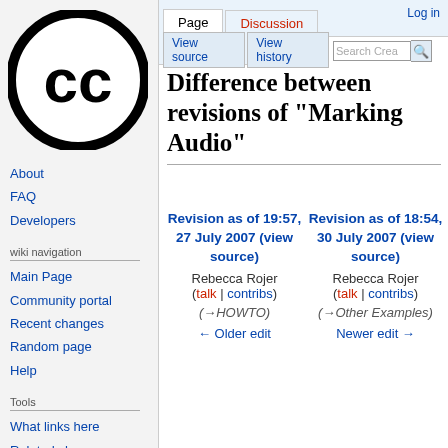Log in
[Figure (logo): Creative Commons circular logo with CC letters in black on white background]
About
FAQ
Developers
wiki navigation
Main Page
Community portal
Recent changes
Random page
Help
Tools
What links here
Related changes
Difference between revisions of "Marking Audio"
Revision as of 19:57, 27 July 2007 (view source) Rebecca Rojer (talk | contribs) (→HOWTO) ← Older edit
Revision as of 18:54, 30 July 2007 (view source) Rebecca Rojer (talk | contribs) (→Other Examples) Newer edit →